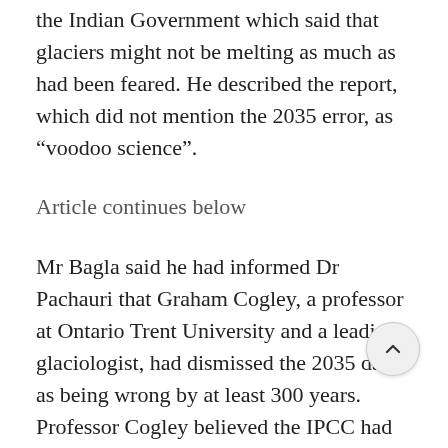the Indian Government which said that glaciers might not be melting as much as had been feared. He described the report, which did not mention the 2035 error, as “voodoo science”.
Article continues below
Mr Bagla said he had informed Dr Pachauri that Graham Cogley, a professor at Ontario Trent University and a leading glaciologist, had dismissed the 2035 date as being wrong by at least 300 years. Professor Cogley believed the IPCC had misread the date in a 1996 report which said the glaciers could melt significantly by 2350.
Mr Pallava interviewed Dr Pachauri again this week for Science and asked him why he had